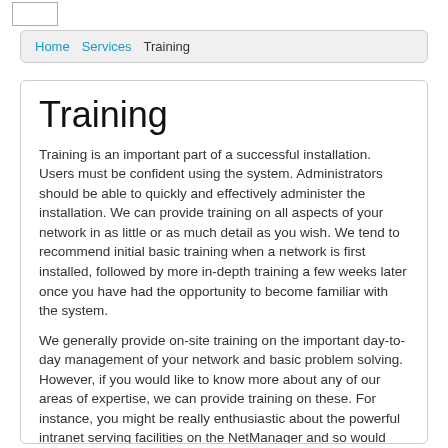Home  Services  Training
Training
Training is an important part of a successful installation. Users must be confident using the system. Administrators should be able to quickly and effectively administer the installation. We can provide training on all aspects of your network in as little or as much detail as you wish. We tend to recommend initial basic training when a network is first installed, followed by more in-depth training a few weeks later once you have had the opportunity to become familiar with the system.
We generally provide on-site training on the important day-to-day management of your network and basic problem solving. However, if you would like to know more about any of our areas of expertise, we can provide training on these. For instance, you might be really enthusiastic about the powerful intranet serving facilities on the NetManager and so would like to know more about PHP, MySQL and web-